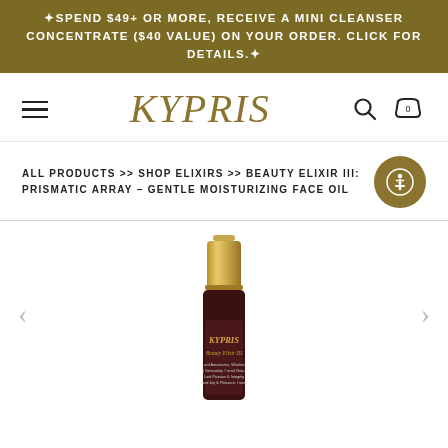✦SPEND $49+ OR MORE, RECEIVE A MINI CLEANSER CONCENTRATE ($40 VALUE) ON YOUR ORDER. CLICK FOR DETAILS.✦
KYPRIS
ALL PRODUCTS >> SHOP ELIXIRS >> BEAUTY ELIXIR III: PRISMATIC ARRAY - GENTLE MOISTURIZING FACE OIL
[Figure (photo): KYPRIS Beauty Elixir III product bottle with gold cap and dark maroon label, shown against white background]